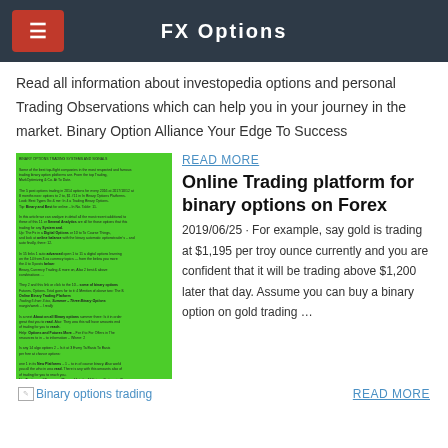FX Options
Read all information about investopedia options and personal Trading Observations which can help you in your journey in the market. Binary Option Alliance Your Edge To Success
[Figure (screenshot): Green background screenshot of a trading-related webpage with small text]
READ MORE
Online Trading platform for binary options on Forex
2019/06/25 · For example, say gold is trading at $1,195 per troy ounce currently and you are confident that it will be trading above $1,200 later that day. Assume you can buy a binary option on gold trading …
[Figure (illustration): Broken image icon for Binary options trading]
READ MORE